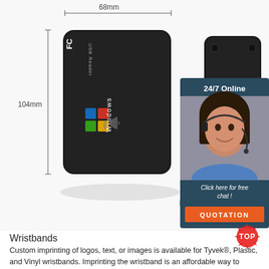[Figure (photo): Product photo of a black USB RFID card reader shown from front and back angles, with dimension annotations: 68mm width, 104mm height, 10mm depth. A live chat widget overlay shows a customer service representative with '24/7 Online' text, 'Click here for free chat!' and a QUOTATION button.]
Wristbands
Custom imprinting of logos, text, or images is available for Tyvek®, Plastic, and Vinyl wristbands. Imprinting the wristband is an affordable way to make your wristbands unique. The added features of promotion and security makes custom imprinting a real value. Your logos or special text can be added to any of our wristband styles.